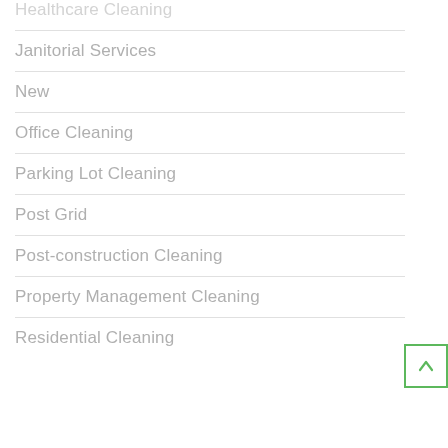Healthcare Cleaning
Janitorial Services
New
Office Cleaning
Parking Lot Cleaning
Post Grid
Post-construction Cleaning
Property Management Cleaning
Residential Cleaning